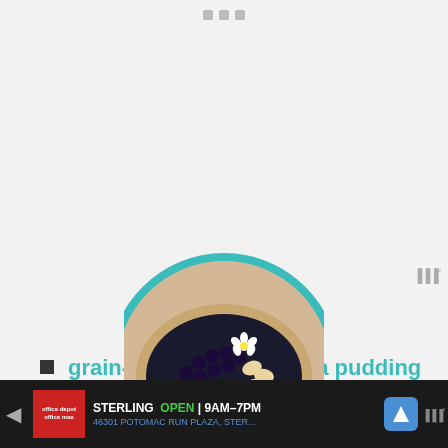... (navigation dots)
grain-free chocolate chia pudding pie
sunny citrus tart
chocolate nice cream pie
keto coconut-lemon cheesecake
grain-free chocolate coconut tart
[Figure (photo): A circular tart or pie topped with blueberries, heart-shaped crackers, and a white flower, displayed inside a teal-rimmed circle frame]
STERLING OPEN | 9AM-7PM 46301 POTOMAC RUN PLAZA, STER...